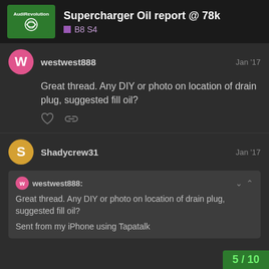Supercharger Oil report @ 78k — B8 S4
westwest888 Jan '17
Great thread. Any DIY or photo on location of drain plug, suggested fill oil?
Shadycrew31 Jan '17
westwest888:
Great thread. Any DIY or photo on location of drain plug, suggested fill oil?
Sent from my iPhone using Tapatalk
5 / 10